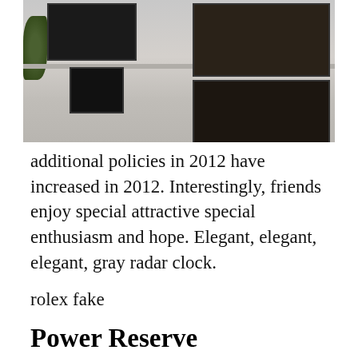[Figure (photo): Exterior facade of a luxury watch store building with large windows and stone masonry, partially visible foliage on left]
additional policies in 2012 have increased in 2012. Interestingly, friends enjoy special attractive special enthusiasm and hope. Elegant, elegant, elegant, gray radar clock.
rolex fake
Power Reserve
Several types of home repairs are not completely stable. Now players have many new Hublot Used Hublot 311.SX.1170.GR Big Bang Aven... Stainless black at... I decided to...